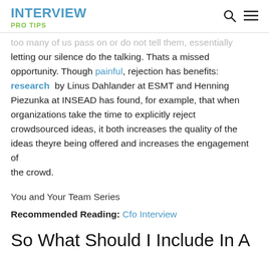INTERVIEW PRO TIPS
too many of us pass on or do not tell them, essentially letting our silence do the talking. Thats a missed opportunity. Though painful, rejection has benefits: research by Linus Dahlander at ESMT and Henning Piezunka at INSEAD has found, for example, that when organizations take the time to explicitly reject crowdsourced ideas, it both increases the quality of the ideas theyre being offered and increases the engagement of the crowd.
You and Your Team Series
Recommended Reading: Cfo Interview
So What Should I Include In A